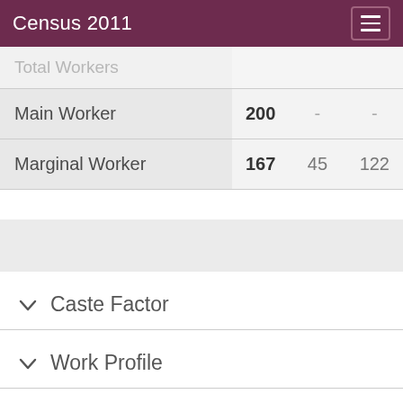Census 2011
|  |  |  |  |
| --- | --- | --- | --- |
| Total Workers |  |  |  |
| Main Worker | 200 | - | - |
| Marginal Worker | 167 | 45 | 122 |
Caste Factor
Work Profile